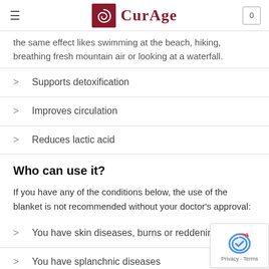CURAGE
the same effect likes swimming at the beach, hiking, breathing fresh mountain air or looking at a waterfall.
Supports detoxification
Improves circulation
Reduces lactic acid
Who can use it?
If you have any of the conditions below, the use of the blanket is not recommended without your doctor's approval:
You have skin diseases, burns or reddening
You have splanchnic diseases